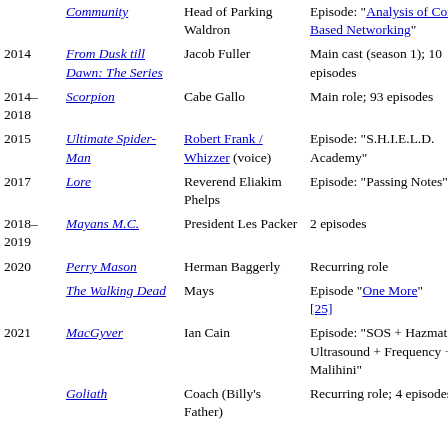| Year | Title | Role | Notes |
| --- | --- | --- | --- |
|  | Community | Head of Parking Waldron | Episode: "Analysis of Cork-Based Networking" |
| 2014 | From Dusk till Dawn: The Series | Jacob Fuller | Main cast (season 1); 10 episodes |
| 2014–2018 | Scorpion | Cabe Gallo | Main role; 93 episodes |
| 2015 | Ultimate Spider-Man | Robert Frank / Whizzer (voice) | Episode: "S.H.I.E.L.D. Academy" |
| 2017 | Lore | Reverend Eliakim Phelps | Episode: "Passing Notes" |
| 2018–2019 | Mayans M.C. | President Les Packer | 2 episodes |
| 2020 | Perry Mason | Herman Baggerly | Recurring role |
|  | The Walking Dead | Mays | Episode "One More" [25] |
| 2021 | MacGyver | Ian Cain | Episode: "SOS + Hazmat + Ultrasound + Frequency + Malihini" |
|  | Goliath | Coach (Billy's Father) | Recurring role; 4 episodes |